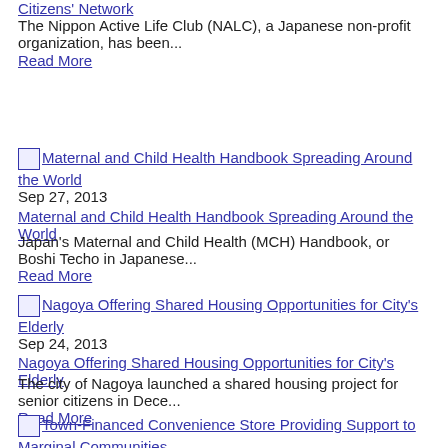Citizens' Network
The Nippon Active Life Club (NALC), a Japanese non-profit organization, has been...
Read More
[Figure (photo): Thumbnail image link for Maternal and Child Health Handbook Spreading Around the World]
Sep 27, 2013
Maternal and Child Health Handbook Spreading Around the World
Japan's Maternal and Child Health (MCH) Handbook, or Boshi Techo in Japanese...
Read More
[Figure (photo): Thumbnail image link for Nagoya Offering Shared Housing Opportunities for City's Elderly]
Sep 24, 2013
Nagoya Offering Shared Housing Opportunities for City's Elderly
The city of Nagoya launched a shared housing project for senior citizens in Dece...
Read More
[Figure (photo): Thumbnail image link for Town-Financed Convenience Store Providing Support to Marginal Communities]